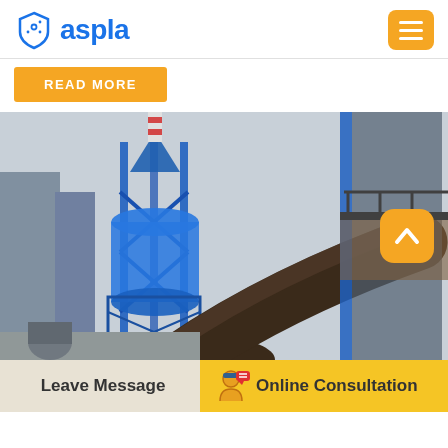[Figure (logo): Aspla company logo with shield/flask icon in blue and the text 'aspla' in blue]
[Figure (other): Yellow hamburger/menu button (three horizontal white lines on yellow rounded rectangle background)]
READ MORE
[Figure (photo): Industrial facility photo showing a large blue cylindrical tower structure with metal framework and a large dark brown pipe/kiln running diagonally, industrial buildings in the background]
Leave Message
[Figure (illustration): Small icon of a person with speech bubbles representing online consultation]
Online Consultation